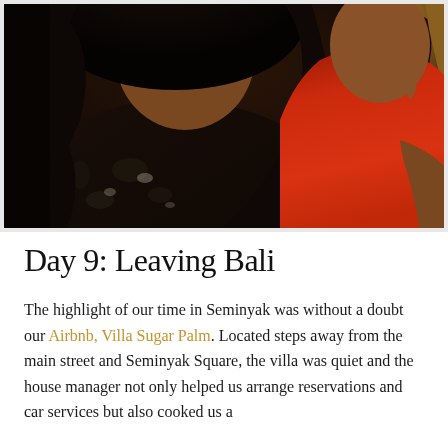[Figure (photo): Two women taking a close-up selfie or photo together. The woman on the left is wearing a dark floral/tropical print top with dark hair. The woman on the right is wearing a red outfit and has lighter/blonde wavy hair.]
Day 9: Leaving Bali
The highlight of our time in Seminyak was without a doubt our Airbnb, Villa Sugar Palm. Located steps away from the main street and Seminyak Square, the villa was quiet and the house manager not only helped us arrange reservations and car services but also cooked us a